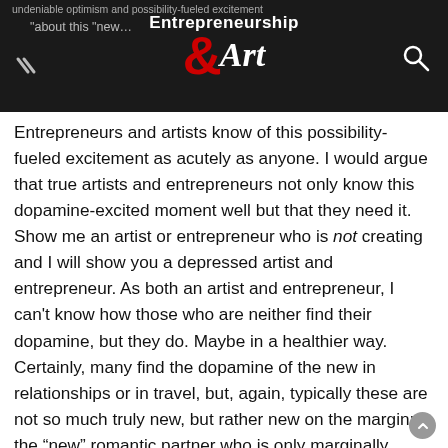Entrepreneurship & Art
Entrepreneurs and artists know of this possibility-fueled excitement as acutely as anyone. I would argue that true artists and entrepreneurs not only know this dopamine-excited moment well but that they need it. Show me an artist or entrepreneur who is not creating and I will show you a depressed artist and entrepreneur. As both an artist and entrepreneur, I can't know how those who are neither find their dopamine, but they do. Maybe in a healthier way. Certainly, many find the dopamine of the new in relationships or in travel, but, again, typically these are not so much truly new, but rather new on the margin: the “new” romantic partner who is only marginally different than the prior (Cf. “we have types”); the trip to a new place that is immediately compared and contrasted against prior trips.